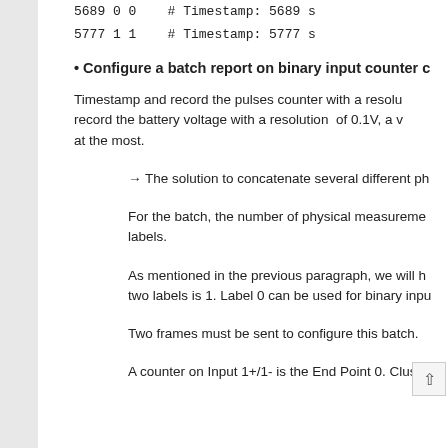5689 0 0    # Timestamp: 5689 s    La
5777 1 1    # Timestamp: 5777 s    La
• Configure a batch report on binary input counter c
Timestamp and record the pulses counter with a resolu record the battery voltage with a resolution of 0.1V, a v at the most.
→ The solution to concatenate several different ph
For the batch, the number of physical measureme labels.
As mentioned in the previous paragraph, we will h two labels is 1. Label 0 can be used for binary inpu
Two frames must be sent to configure this batch.
A counter on Input 1+/1- is the End Point 0. Cluste